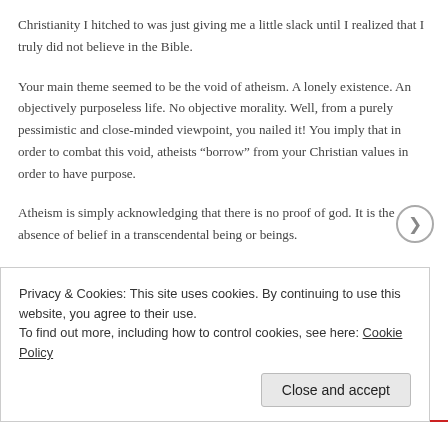Christianity I hitched to was just giving me a little slack until I realized that I truly did not believe in the Bible.
Your main theme seemed to be the void of atheism. A lonely existence. An objectively purposeless life. No objective morality. Well, from a purely pessimistic and close-minded viewpoint, you nailed it! You imply that in order to combat this void, atheists “borrow” from your Christian values in order to have purpose.
Atheism is simply acknowledging that there is no proof of god. It is the absence of belief in a transcendental being or beings.
You stated, “However, this dismissive attitude towards truly evil wrongdoers while being supercritical over their misperceived evil
Privacy & Cookies: This site uses cookies. By continuing to use this website, you agree to their use.
To find out more, including how to control cookies, see here: Cookie Policy